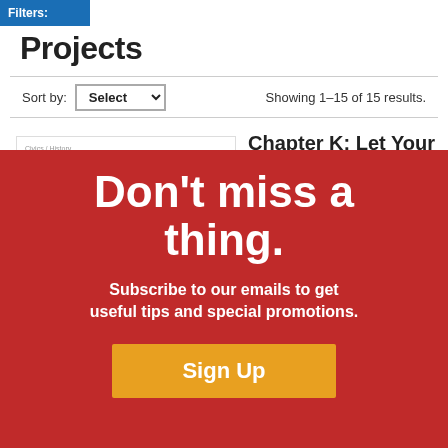Filters:
Projects
Sort by: Select   Showing 1–15 of 15 results.
[Figure (screenshot): Thumbnail card showing Chapter K: Let Your Voice Be Heard: Synod on Cyberbullying]
Chapter K: Let Your Voice Be Heard: Synod on Cyberbullying
close
Students are challenged to write a speech as if they were a member of Pope Francis' synod addressing the problem of cyberbullying.
Final Performance Task Options
The final performance
Don't miss a thing.
Subscribe to our emails to get useful tips and special promotions.
Sign Up